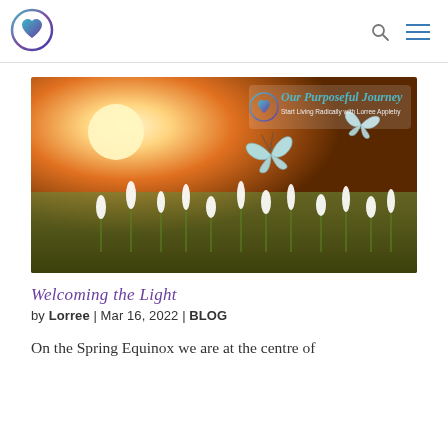Our Purposeful Journey — navigation header with logo, search icon, and menu icon
[Figure (photo): Spring scene with white snowdrop flowers in foreground, glowing orange sunset/sunrise light in background, two blue butterflies in flight. Overlay logo in upper right reads 'Our Purposeful Journey – Start Living Radically with Lorree Appleby']
Welcoming the Light
by Lorree | Mar 16, 2022 | BLOG
On the Spring Equinox we are at the centre of